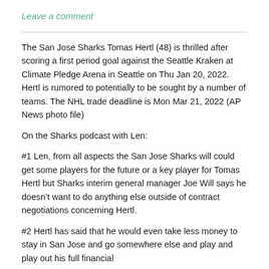Leave a comment
The San Jose Sharks Tomas Hertl (48) is thrilled after scoring a first period goal against the Seattle Kraken at Climate Pledge Arena in Seattle on Thu Jan 20, 2022. Hertl is rumored to potentially to be sought by a number of teams. The NHL trade deadline is Mon Mar 21, 2022 (AP News photo file)
On the Sharks podcast with Len:
#1 Len, from all aspects the San Jose Sharks will could get some players for the future or a key player for Tomas Hertl but Sharks interim general manager Joe Will says he doesn’t want to do anything else outside of contract negotiations concerning Hertl.
#2 Hertl has said that he would even take less money to stay in San Jose and go somewhere else and play and play out his full financial